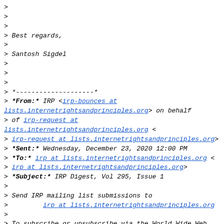>
>
>
> Best regards,
>
> Santosh Sigdel
>
>
>
> *--------------------*
> *From:* IRP <irp-bounces at lists.internetrightsandprinciples.org> on behalf
> of irp-request at lists.internetrightsandprinciples.org <
> irp-request at lists.internetrightsandprinciples.org>
> *Sent:* Wednesday, December 23, 2020 12:00 PM
> *To:* irp at lists.internetrightsandprinciples.org <
> irp at lists.internetrightsandprinciples.org>
> *Subject:* IRP Digest, Vol 295, Issue 1
>
> Send IRP mailing list submissions to
>         irp at lists.internetrightsandprinciples.org
>
> To subscribe or unsubscribe via the World Wide Web, visit
>
https://lists.internetrightsandprinciples.org/mailman/lis
> or, via email, send a message with subject or body 'help' to
>         irp-request at